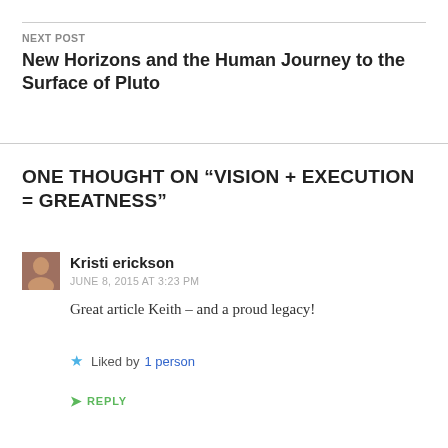NEXT POST
New Horizons and the Human Journey to the Surface of Pluto
ONE THOUGHT ON “VISION + EXECUTION = GREATNESS”
Kristi erickson
JUNE 8, 2015 AT 3:23 PM
Great article Keith – and a proud legacy!
Liked by 1 person
REPLY